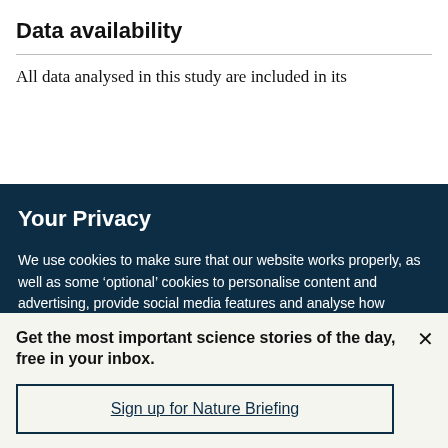Data availability
All data analysed in this study are included in its
Your Privacy
We use cookies to make sure that our website works properly, as well as some ‘optional’ cookies to personalise content and advertising, provide social media features and analyse how people use our site. By accepting some or all optional cookies you give consent to the processing of your personal data, including transfer to third parties, some in countries outside of the European Economic Area that do not offer the same data protection standards as the country where you live. You can decide which optional cookies to accept by clicking on ‘Manage Settings’, where you can
Get the most important science stories of the day, free in your inbox.
Sign up for Nature Briefing